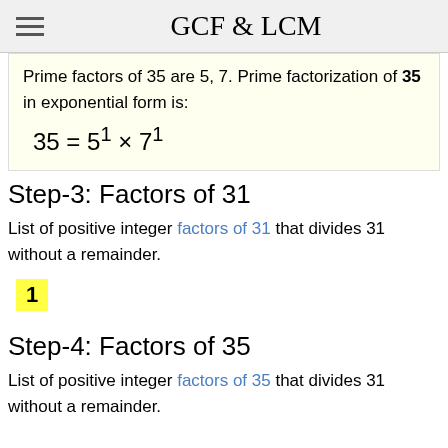GCF & LCM
Prime factors of 35 are 5, 7. Prime factorization of 35 in exponential form is:
Step-3: Factors of 31
List of positive integer factors of 31 that divides 31 without a remainder.
1
Step-4: Factors of 35
List of positive integer factors of 35 that divides 31 without a remainder.